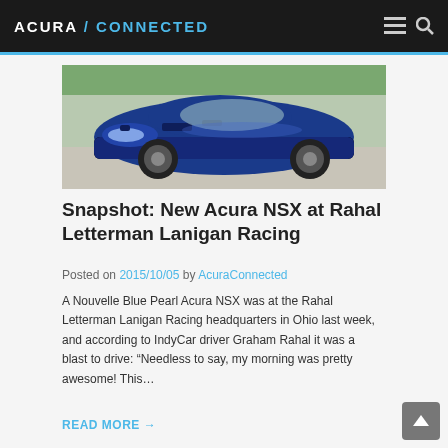ACURA / CONNECTED
[Figure (photo): Blue Acura NSX sports car parked on a driveway, shot from a front-three-quarter angle. The car is Nouvelle Blue Pearl color.]
Snapshot: New Acura NSX at Rahal Letterman Lanigan Racing
Posted on 2015/10/05 by AcuraConnected
A Nouvelle Blue Pearl Acura NSX was at the Rahal Letterman Lanigan Racing headquarters in Ohio last week, and according to IndyCar driver Graham Rahal it was a blast to drive: “Needless to say, my morning was pretty awesome! This…
READ MORE →